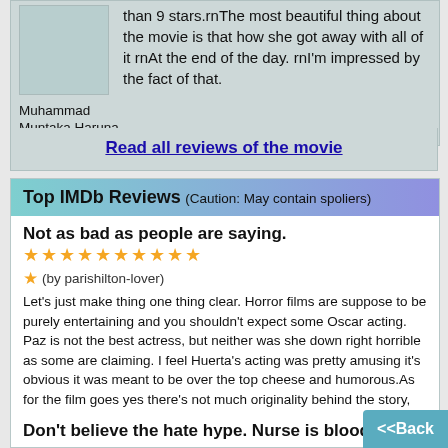than 9 stars.rnThe most beautiful thing about the movie is that how she got away with all of it rnAt the end of the day. rnI'm impressed by the fact of that.
Muhammad Muntaka Haruna
Read all reviews of the movie
Top IMDb Reviews (Caution: May contain spoliers)
Not as bad as people are saying. ★★★★★★★★★★
★ (by parishilton-lover)
Let's just make thing one thing clear. Horror films are suppose to be purely entertaining and you shouldn't expect some Oscar acting. Paz is not the best actress, but neither was she down right horrible as some are claiming. I feel Huerta's acting was pretty amusing it's obvious it was meant to be over the top cheese and humorous.As for the film goes yes there's not much originality behind the story, but what horror film is now a days? I personally enjoyed this film due to the ridiculously funny dialogue and watching Paz be a crazy obsessive murdering bitch. There was <more>
Don't believe the hate hype. Nurse is bloody g